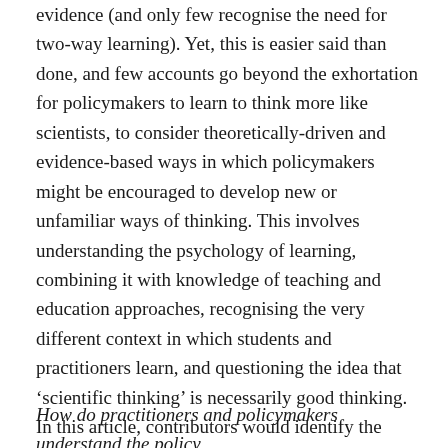evidence (and only few recognise the need for two-way learning). Yet, this is easier said than done, and few accounts go beyond the exhortation for policymakers to learn to think more like scientists, to consider theoretically-driven and evidence-based ways in which policymakers might be encouraged to develop new or unfamiliar ways of thinking. This involves understanding the psychology of learning, combining it with knowledge of teaching and education approaches, recognising the very different context in which students and practitioners learn, and questioning the idea that ‘scientific thinking’ is necessarily good thinking. In this article, contributors would identify the ways in which insights from education practices can be used to inform our ideas about policymaker learning and ‘training’. If scientists were willing to be ‘trained’ to think more like policymakers, and vice versa, how would you do it?
How do practitioners and policymakers understand the policy